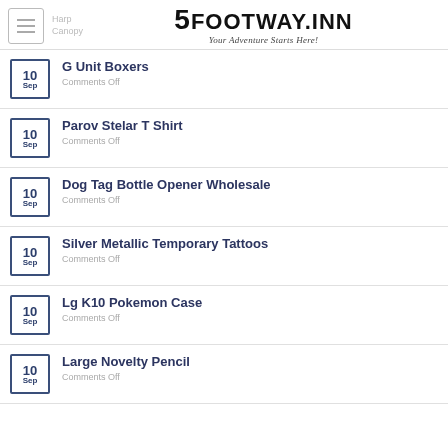5FOOTWAY.inn — Your Adventure Starts Here!
G Unit Boxers — 10 Sep — Comments Off
Parov Stelar T Shirt — 10 Sep — Comments Off
Dog Tag Bottle Opener Wholesale — 10 Sep — Comments Off
Silver Metallic Temporary Tattoos — 10 Sep — Comments Off
Lg K10 Pokemon Case — 10 Sep — Comments Off
Large Novelty Pencil — 10 Sep — Comments Off